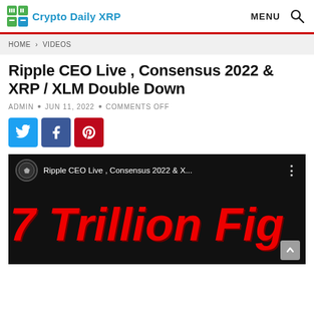Crypto Daily XRP  MENU
HOME > VIDEOS
Ripple CEO Live , Consensus 2022 & XRP / XLM Double Down
ADMIN • JUN 11, 2022 • COMMENTS OFF
[Figure (other): Social share buttons: Twitter (blue), Facebook (dark blue), Pinterest (red)]
[Figure (screenshot): YouTube video thumbnail showing 'Ripple CEO Live , Consensus 2022 & X...' with large red italic text reading '7 Trillion Fig' on black background]